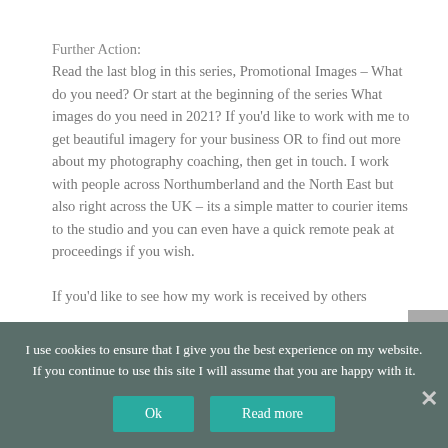Further Action:
Read the last blog in this series,  Promotional Images – What do you need? Or start at the beginning of the series What images do you need in 2021? If you'd like to work with me to get beautiful imagery for your business OR to find out more about my photography coaching, then get in touch. I work with people across Northumberland and the North East but also right across the UK  – its a simple matter to courier items to the studio and you can even have a quick remote peak at proceedings if you wish.

If you'd like to see how my work is received by others
I use cookies to ensure that I give you the best experience on my website. If you continue to use this site I will assume that you are happy with it.